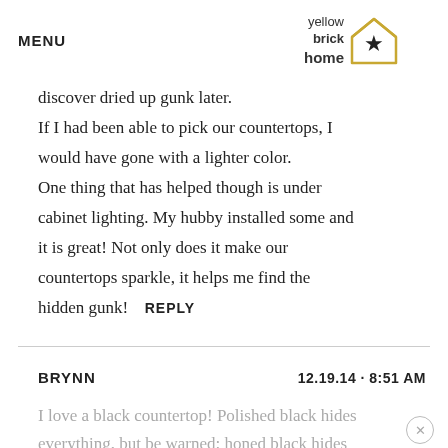MENU | yellow brick home logo
discover dried up gunk later.
If I had been able to pick our countertops, I would have gone with a lighter color.
One thing that has helped though is under cabinet lighting. My hubby installed some and it is great! Not only does it make our countertops sparkle, it helps me find the hidden gunk!  REPLY
BRYNN   12.19.14 · 8:51 AM
I love a black countertop! Polished black hides everything, but be warned: honed black hides